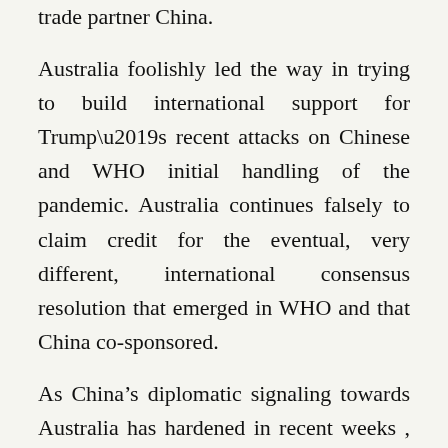trade partner China.
Australia foolishly led the way in trying to build international support for Trump’s recent attacks on Chinese and WHO initial handling of the pandemic. Australia continues falsely to claim credit for the eventual, very different, international consensus resolution that emerged in WHO and that China co-sponsored.
As China’s diplomatic signaling towards Australia has hardened in recent weeks , Australia’s U.S.-driven Sinophobe lobby has become more recklessly outspoken in Canberra government and mainstream media circles. China has imposed well-targeted [Translate »] d sanctions on Australian barley, meat